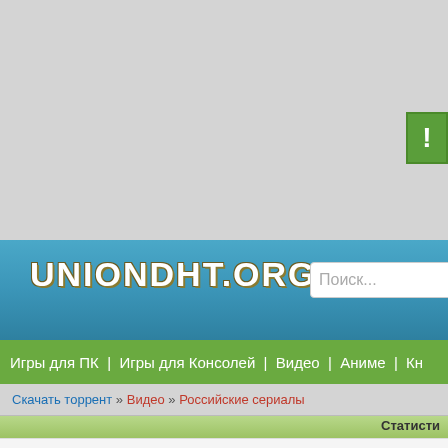[Figure (screenshot): Gray background top area of a webpage]
[Figure (screenshot): Green exclamation mark button in upper right corner]
UNIONDHT.ORG
Поиск...
Игры для ПК | Игры для Консолей | Видео | Аниме | Кн
Скачать торрент » Видео » Российские сериалы
Статисти
Размер: 12.42 GB | Зарегистрирован: 2 го
Разда